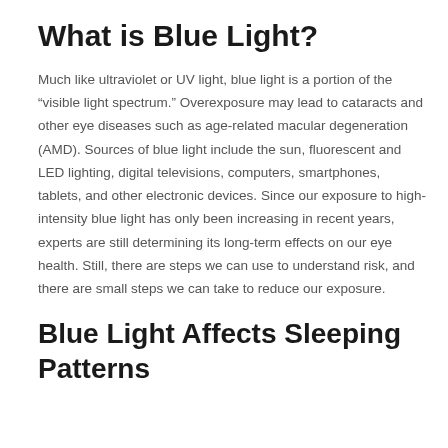What is Blue Light?
Much like ultraviolet or UV light, blue light is a portion of the “visible light spectrum.” Overexposure may lead to cataracts and other eye diseases such as age-related macular degeneration (AMD). Sources of blue light include the sun, fluorescent and LED lighting, digital televisions, computers, smartphones, tablets, and other electronic devices. Since our exposure to high-intensity blue light has only been increasing in recent years, experts are still determining its long-term effects on our eye health. Still, there are steps we can use to understand risk, and there are small steps we can take to reduce our exposure.
Blue Light Affects Sleeping Patterns